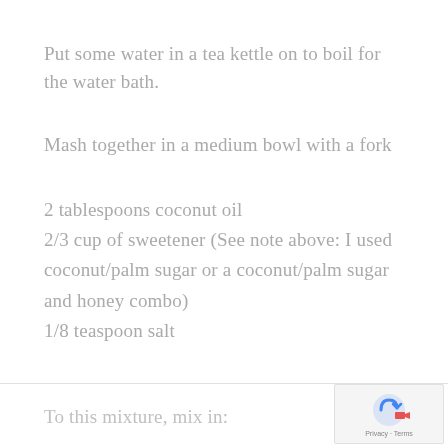Put some water in a tea kettle on to boil for the water bath.
Mash together in a medium bowl with a fork
2 tablespoons coconut oil
2/3 cup of sweetener (See note above: I used coconut/palm sugar or a coconut/palm sugar and honey combo)
1/8 teaspoon salt
To this mixture, mix in: